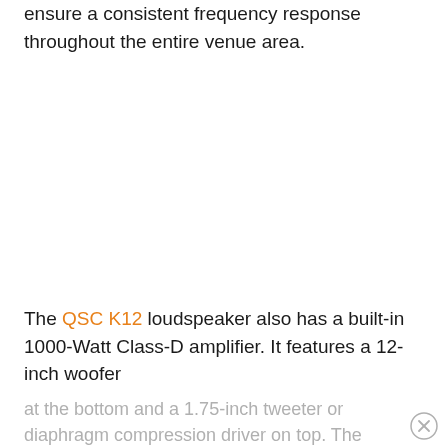ensure a consistent frequency response throughout the entire venue area.
The QSC K12 loudspeaker also has a built-in 1000-Watt Class-D amplifier. It features a 12-inch woofer
at the bottom and a 1.75-inch tweeter or diaphragm compression driver on top. The